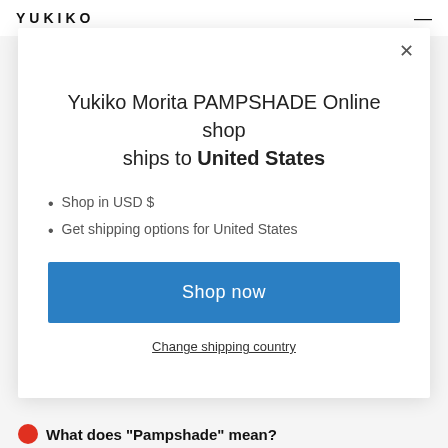YUKIKO
Yukiko Morita PAMPSHADE Online shop ships to United States
Shop in USD $
Get shipping options for United States
Shop now
Change shipping country
What does "Pampshade" mean?